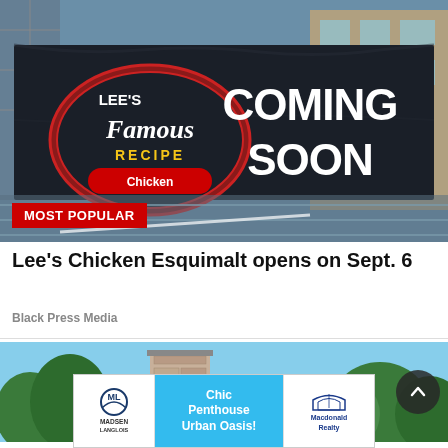[Figure (photo): A construction site with a large black banner showing Lee's Famous Recipe Chicken logo on the left and 'COMING SOON' text on the right. Construction fencing and scaffolding visible. A red 'MOST POPULAR' badge overlays the bottom-left of the image.]
Lee's Chicken Esquimalt opens on Sept. 6
Black Press Media
[Figure (photo): A mid-century modern style house rooftop with a stone chimney tower against blue sky with green trees in background.]
[Figure (photo): Advertisement banner for Madsen Langlois and Macdonald Realty featuring 'Chic Penthouse Urban Oasis!' with interior kitchen photo.]